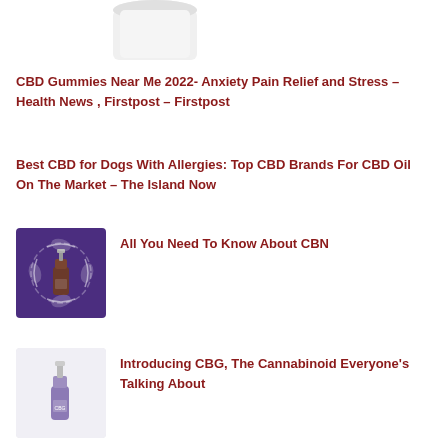[Figure (photo): White container/jar product image at top of page]
CBD Gummies Near Me 2022- Anxiety Pain Relief and Stress – Health News , Firstpost – Firstpost
Best CBD for Dogs With Allergies: Top CBD Brands For CBD Oil On The Market – The Island Now
[Figure (photo): CBD oil dropper bottle on purple background with circular design]
All You Need To Know About CBN
[Figure (photo): CBD oil dropper bottle on light background]
Introducing CBG, The Cannabinoid Everyone's Talking About